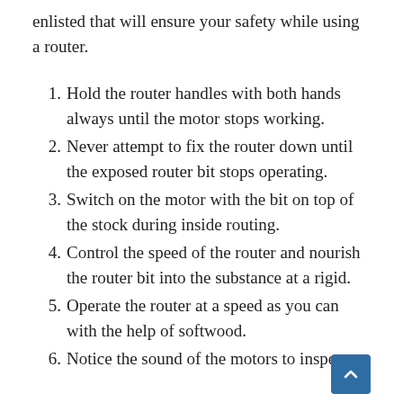enlisted that will ensure your safety while using a router.
1. Hold the router handles with both hands always until the motor stops working.
2. Never attempt to fix the router down until the exposed router bit stops operating.
3. Switch on the motor with the bit on top of the stock during inside routing.
4. Control the speed of the router and nourish the router bit into the substance at a rigid.
5. Operate the router at a speed as you can with the help of softwood.
6. Notice the sound of the motors to inspect